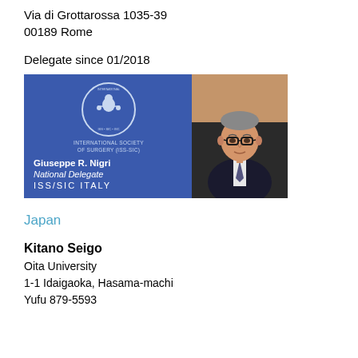Via di Grottarossa 1035-39
00189 Rome
Delegate since 01/2018
[Figure (photo): ISS/SIC delegate badge for Giuseppe R. Nigri, National Delegate, ISS/SIC ITALY, with organization logo and portrait photo]
Japan
Kitano Seigo
Oita University
1-1 Idaigaoka, Hasama-machi
Yufu 879-5593